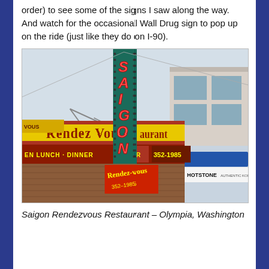order) to see some of the signs I saw along the way. And watch for the occasional Wall Drug sign to pop up on the ride (just like they do on I-90).
[Figure (photo): Photo of Saigon Rendezvous Restaurant signage in Olympia, Washington. A tall vertical teal sign reads SAIGON in red/orange letters. A yellow horizontal sign reads Rendez Vous restaurant. Below are signs for EN LUNCH DINNER, ORDER, 352-1985, and Rendez-vous 352-1985. To the right is a building with a blue awning and a HOTSTONE sign.]
Saigon Rendezvous Restaurant – Olympia, Washington